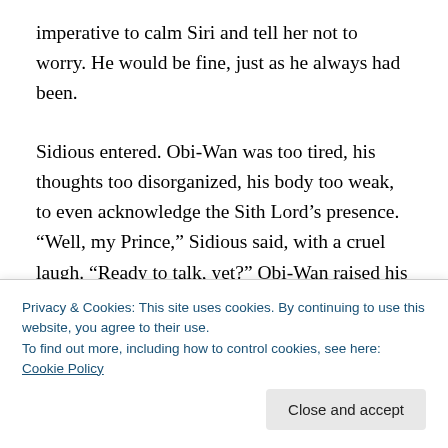imperative to calm Siri and tell her not to worry. He would be fine, just as he always had been.
Sidious entered. Obi-Wan was too tired, his thoughts too disorganized, his body too weak, to even acknowledge the Sith Lord’s presence. “Well, my Prince,” Sidious said, with a cruel laugh. “Ready to talk, yet?” Obi-Wan raised his head slightly with an effort and stared defiantly into acidic yellow eyes. Liquid fire shot along his veins, melting every
Privacy & Cookies: This site uses cookies. By continuing to use this website, you agree to their use.
To find out more, including how to control cookies, see here: Cookie Policy
weak, and every movement sent jolts of pain lancing